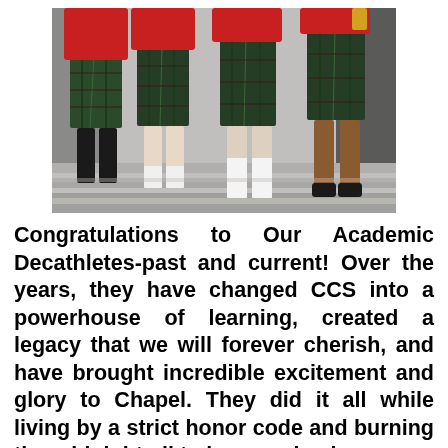[Figure (photo): Photo of four students in red tops and plaid skirts standing on steps, shown from waist down, wearing school uniforms.]
Congratulations to Our Academic Decathletes-past and current!  Over the years, they have changed CCS into a powerhouse of learning, created a legacy that we will forever cherish, and have brought incredible excitement  and  glory to Chapel. They did it all while living by a strict honor code and burning the midnight oil to keep up in class